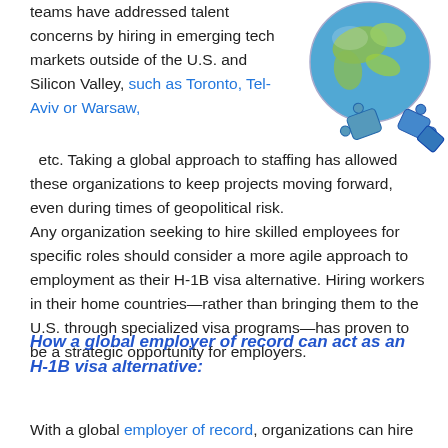teams have addressed talent concerns by hiring in emerging tech markets outside of the U.S. and Silicon Valley, such as Toronto, Tel-Aviv or Warsaw,  etc. Taking a global approach to staffing has allowed these organizations to keep projects moving forward, even during times of geopolitical risk.
[Figure (photo): Globe with puzzle pieces scattered around it]
Any organization seeking to hire skilled employees for specific roles should consider a more agile approach to employment as their H-1B visa alternative. Hiring workers in their home countries—rather than bringing them to the U.S. through specialized visa programs—has proven to be a strategic opportunity for employers.
How a global employer of record can act as an H-1B visa alternative:
With a global employer of record, organizations can hire workers in